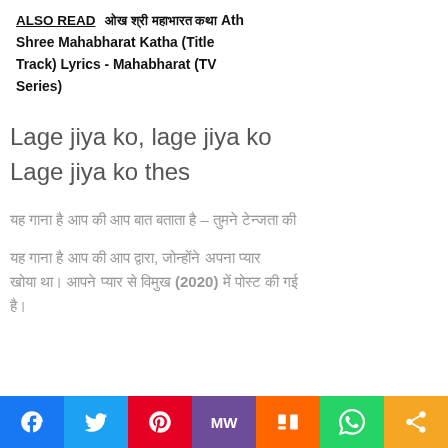ALSO READ   [Hindi text] Ath Shree Mahabharat Katha (Title Track) Lyrics - Mahabharat (TV Series)
Lage jiya ko, lage jiya ko
Lage jiya ko thes
[Hindi line] – [Hindi text]
[Hindi paragraph text] (2020) [Hindi text]